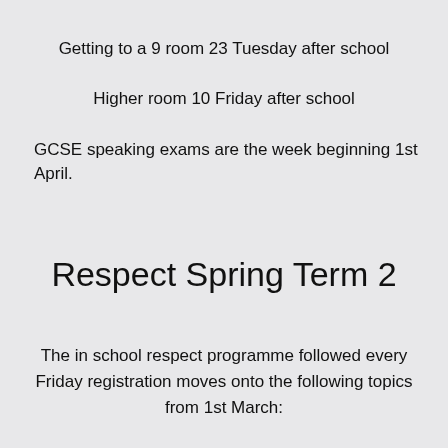Getting to a 9 room 23 Tuesday after school
Higher room 10 Friday after school
GCSE speaking exams are the week beginning 1st April.
Respect Spring Term 2
The in school respect programme followed every Friday registration moves onto the following topics from 1st March: